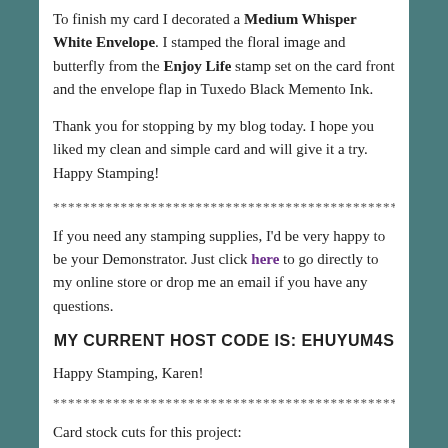To finish my card I decorated a Medium Whisper White Envelope. I stamped the floral image and butterfly from the Enjoy Life stamp set on the card front and the envelope flap in Tuxedo Black Memento Ink.
Thank you for stopping by my blog today. I hope you liked my clean and simple card and will give it a try. Happy Stamping!
******************************************************************************
If you need any stamping supplies, I'd be very happy to be your Demonstrator. Just click here to go directly to my online store or drop me an email if you have any questions.
MY CURRENT HOST CODE IS: EHUYUM4S
Happy Stamping, Karen!
******************************************************************************
Card stock cuts for this project: